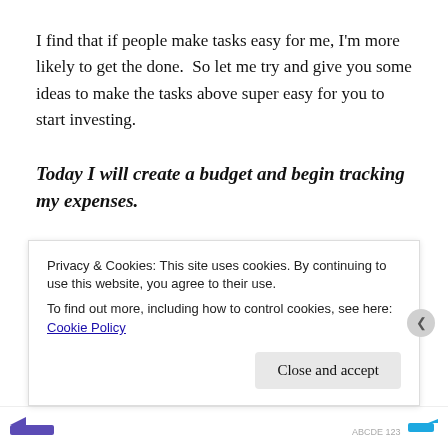I find that if people make tasks easy for me, I'm more likely to get the done.  So let me try and give you some ideas to make the tasks above super easy for you to start investing.
Today I will create a budget and begin tracking my expenses.
Get some paper or a notebook and pen.  Every time you spend money, write it down.  Then at the end of each week, review your purchases.
Privacy & Cookies: This site uses cookies. By continuing to use this website, you agree to their use.
To find out more, including how to control cookies, see here: Cookie Policy
Close and accept